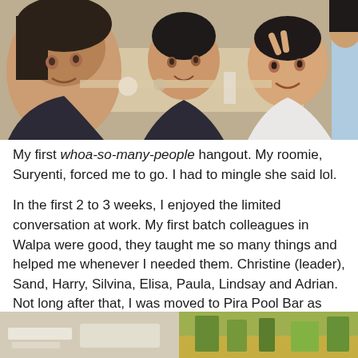[Figure (photo): Group selfie photo of several people smiling at a restaurant/dining table setting. A woman close to the camera on the left, another woman in the middle, a man making a peace sign on the right, and another person in a blue shirt partially visible on the far right.]
My first whoa-so-many-people hangout. My roomie, Suryenti, forced me to go. I had to mingle she said lol.
In the first 2 to 3 weeks, I enjoyed the limited conversation at work. My first batch colleagues in Walpa were good, they taught me so many things and helped me whenever I needed them. Christine (leader), Sand, Harry, Silvina, Elisa, Paula, Lindsay and Adrian. Not long after that, I was moved to Pira Pool Bar as they opened a semi fine dining in winter.
[Figure (photo): Two partial photos at the bottom of the page — left shows items on a light surface, right shows outdoor/nature scene with green and yellow tones.]